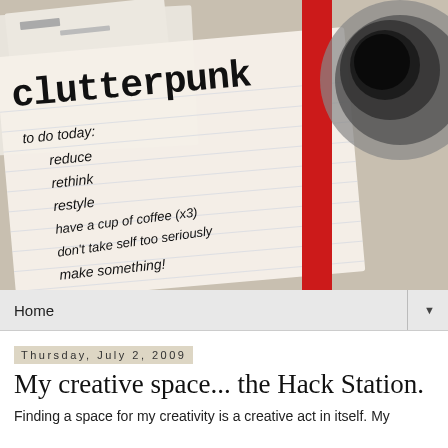[Figure (photo): Photo of a notebook branded 'clutterpunk' with a handwritten to-do list reading: to do today: reduce, rethink, restyle, have a cup of coffee (x3), don't take self too seriously, make something! A red book binding and a coffee cup are visible in the background.]
Home ▼
Thursday, July 2, 2009
My creative space... the Hack Station.
Finding a space for my creativity is a creative act in itself. My